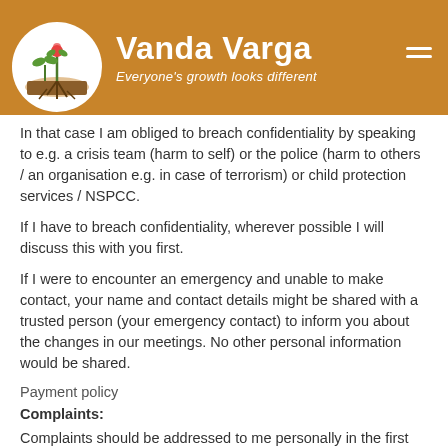Vanda Varga — Everyone's growth looks different
In that case I am obliged to breach confidentiality by speaking to e.g. a crisis team (harm to self) or the police (harm to others / an organisation e.g. in case of terrorism) or child protection services / NSPCC.
If I have to breach confidentiality, wherever possible I will discuss this with you first.
If I were to encounter an emergency and unable to make contact, your name and contact details might be shared with a trusted person (your emergency contact) to inform you about the changes in our meetings. No other personal information would be shared.
Payment policy
Complaints:
Complaints should be addressed to me personally in the first instance. As I would hope to resolve your issues to your complete satisfaction. I hold all relevant insurance